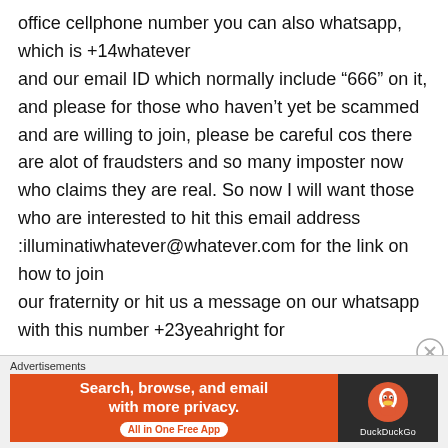office cellphone number you can also whatsapp, which is +14whatever and our email ID which normally include “666” on it, and please for those who haven’t yet be scammed and are willing to join, please be careful cos there are alot of fraudsters and so many imposter now who claims they are real. So now I will want those who are interested to hit this email address :illuminatiwhatever@whatever.com for the link on how to join our fraternity or hit us a message on our whatsapp with this number +23yeahright for
Advertisements
[Figure (other): DuckDuckGo advertisement banner: orange left side with text 'Search, browse, and email with more privacy. All in One Free App' and dark right side with DuckDuckGo duck logo and label 'DuckDuckGo']